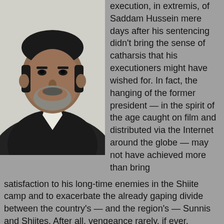[Figure (photo): Portrait photo of a man with dark hair and a grey beard, wearing a dark suit jacket and white shirt, shown from the chest up against a light background.]
execution, in extremis, of Saddam Hussein mere days after his sentencing didn't bring the sense of catharsis that his executioners might have wished for. In fact, the hanging of the former president — in the spirit of the age caught on film and distributed via the Internet around the globe — may not have achieved more than bring satisfaction to his long-time enemies in the Shiite camp and to exacerbate the already gaping divide between the country's — and the region's — Sunnis and Shiites. After all, vengeance rarely, if ever, manages to bring the sweet taste that the perpetrator had sought while planning his actions.
As for the US, whether its ambassador in Baghdad requested, as the US claims, that the execution be postponed or not, it, too, comes out the loser, as the perception will always be that American hands were behind the hanging in one way or another to humiliate, above all it...